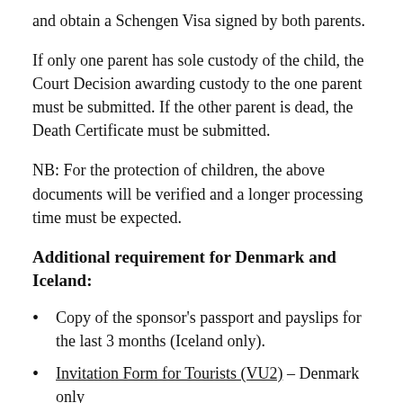and obtain a Schengen Visa signed by both parents.
If only one parent has sole custody of the child, the Court Decision awarding custody to the one parent must be submitted. If the other parent is dead, the Death Certificate must be submitted.
NB: For the protection of children, the above documents will be verified and a longer processing time must be expected.
Additional requirement for Denmark and Iceland:
Copy of the sponsor's passport and payslips for the last 3 months (Iceland only).
Invitation Form for Tourists (VU2) – Denmark only